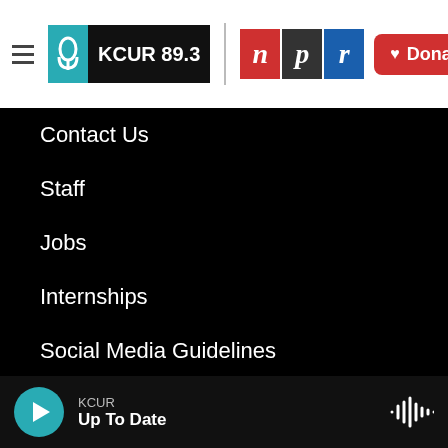[Figure (logo): KCUR 89.3 radio station header with hamburger menu, KCUR logo, NPR logo, and Donate button]
Contact Us
Staff
Jobs
Internships
Social Media Guidelines
Code of Ethics
Governance
Public File
Privacy Policy (partially visible)
KCUR — Up To Date (audio player bar)